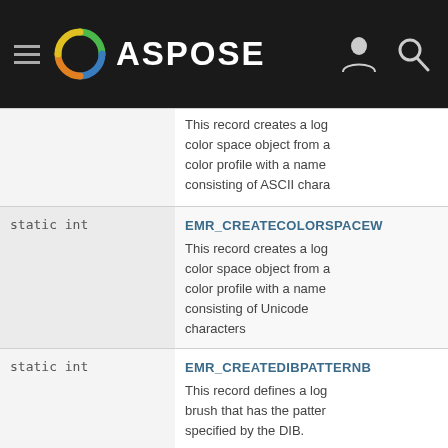ASPOSE
| Type | Field/Description |
| --- | --- |
| static int | EMR_CREATECOLORSPACEW
This record creates a logical color space object from a color profile with a name consisting of ASCII characters |
| static int | EMR_CREATECOLORSPACEW
This record creates a logical color space object from a color profile with a name consisting of Unicode characters |
| static int | EMR_CREATEDIBPATTERNBRUSH
This record defines a logical brush that has the pattern specified by the DIB. |
| static int | EMR_CREATEMONOBRUSH
This record defines a logical brush with the specified bitmap pattern |